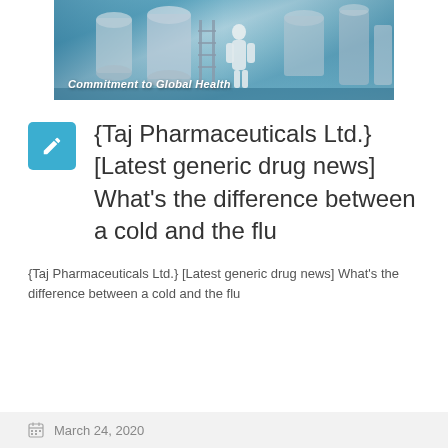[Figure (photo): Pharmaceutical manufacturing facility with large steel tanks and equipment. A worker in white protective gear visible. Text overlay reads 'Commitment to Global Health'.]
{Taj Pharmaceuticals Ltd.} [Latest generic drug news] What's the difference between a cold and the flu
{Taj Pharmaceuticals Ltd.} [Latest generic drug news] What's the difference between a cold and the flu
March 24, 2020